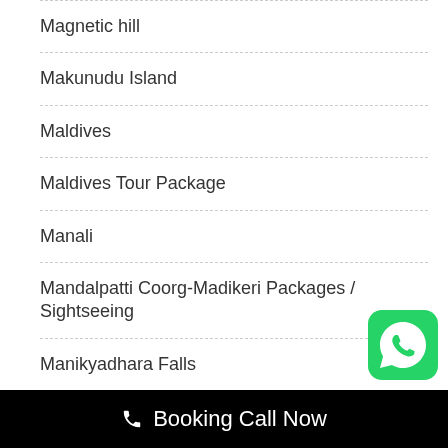Magnetic hill
Makunudu Island
Maldives
Maldives Tour Package
Manali
Mandalpatti Coorg-Madikeri Packages / Sightseeing
Manikyadhara Falls
Mattupetty Dam
📞 Booking Call Now